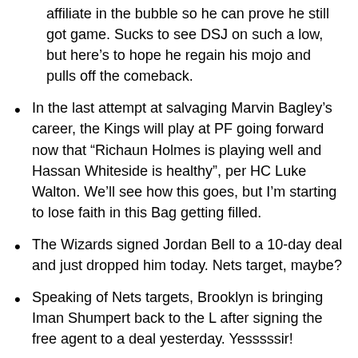affiliate in the bubble so he can prove he still got game. Sucks to see DSJ on such a low, but here’s to hope he regain his mojo and pulls off the comeback.
In the last attempt at salvaging Marvin Bagley’s career, the Kings will play at PF going forward now that “Richaun Holmes is playing well and Hassan Whiteside is healthy”, per HC Luke Walton. We’ll see how this goes, but I’m starting to lose faith in this Bag getting filled.
The Wizards signed Jordan Bell to a 10-day deal and just dropped him today. Nets target, maybe?
Speaking of Nets targets, Brooklyn is bringing Iman Shumpert back to the L after signing the free agent to a deal yesterday. Yesssssir!